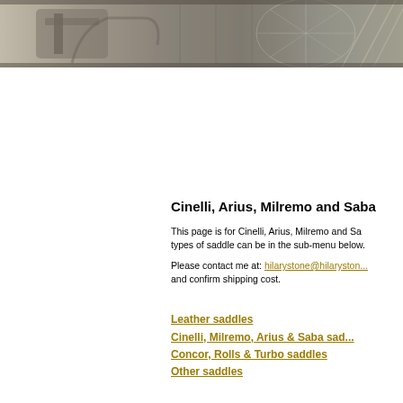[Figure (photo): Black and white horizontal banner photo showing bicycle parts and related vintage cycling imagery]
Cinelli, Arius, Milremo and Saba
This page is for Cinelli, Arius, Milremo and Saba types of saddle can be in the sub-menu below.
Please contact me at: hilarystone@hilarystone and confirm shipping cost.
Leather saddles
Cinelli, Milremo, Arius & Saba saddles
Concor, Rolls & Turbo saddles
Other saddles